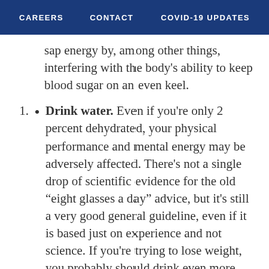CAREERS   CONTACT   COVID-19 UPDATES
sap energy by, among other things, interfering with the body's ability to keep blood sugar on an even keel.
Drink water. Even if you're only 2 percent dehydrated, your physical performance and mental energy may be adversely affected. There's not a single drop of scientific evidence for the old “eight glasses a day” advice, but it's still a very good general guideline, even if it is based just on experience and not science. If you're trying to lose weight, you probably should drink even more water. My guideline for weight loss has always been this: Take your target weight; divide by two; and drink that number of ounces a day. And